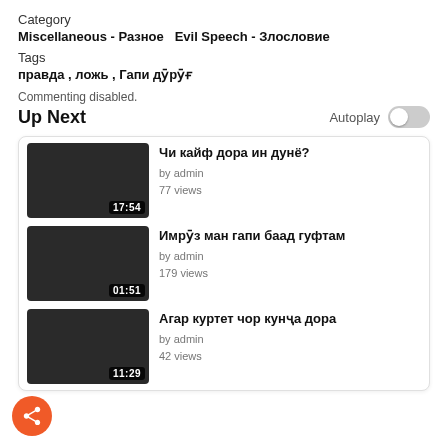Category
Miscellaneous - Разное  Evil Speech - Злословие
Tags
правда , ложь , Гапи дӯрӯғ
Commenting disabled.
Up Next
Autoplay
[Figure (screenshot): Video thumbnail 1 - dark background, duration 17:54]
Чи кайф дора ин дунё?
by admin
77 views
[Figure (screenshot): Video thumbnail 2 - dark background, duration 01:51]
Имрӯз ман гапи баад гуфтам
by admin
179 views
[Figure (screenshot): Video thumbnail 3 - dark background, duration 11:29]
Агар куртет чор кунҷа дора
by admin
42 views